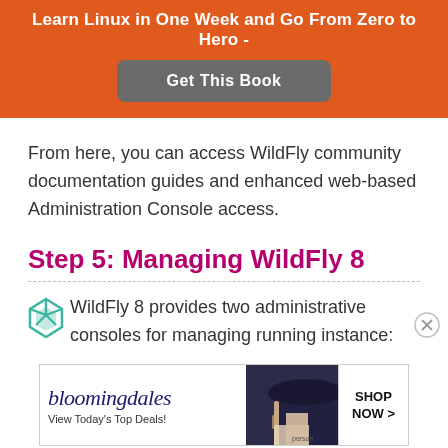[Figure (other): Orange promotional banner with bold white text 'Learn Linux in One Week and Go From Zero to Hero -' and a gray 'Get This Book' button]
From here, you can access WildFly community documentation guides and enhanced web-based Administration Console access.
Step 5: Managing WildFly 8
WildFly 8 provides two administrative consoles for managing running instance:
[Figure (other): Bloomingdale's advertisement banner with logo, 'View Today's Top Deals!' tagline, woman with hat image, and 'SHOP NOW >' button]